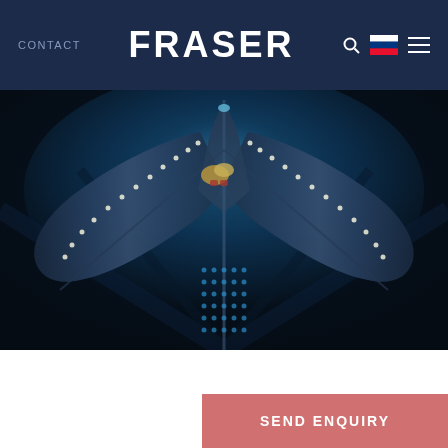CONTACT   FRASER
[Figure (photo): Aerial top-down night photograph of a large luxury sailing yacht illuminated with warm lights along its deck edges against dark water, with a blue glowing ambiance]
SEND ENQUIRY